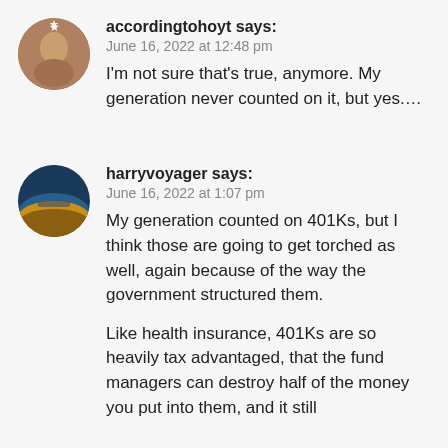accordingtohoyt says:
June 16, 2022 at 12:48 pm
I'm not sure that's true, anymore. My generation never counted on it, but yes….
harryvoyager says:
June 16, 2022 at 1:07 pm
My generation counted on 401Ks, but I think those are going to get torched as well, again because of the way the government structured them.
Like health insurance, 401Ks are so heavily tax advantaged, that the fund managers can destroy half of the money you put into them, and it still